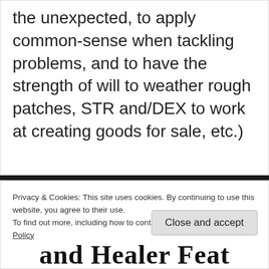the unexpected, to apply common-sense when tackling problems, and to have the strength of will to weather rough patches, STR and/DEX to work at creating goods for sale, etc.)
Privacy & Cookies: This site uses cookies. By continuing to use this website, you agree to their use.
To find out more, including how to control cookies, see here: Cookie Policy
Close and accept
and Healer Feat